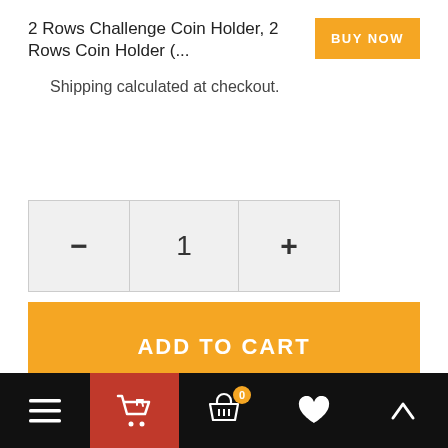2 Rows Challenge Coin Holder, 2 Rows Coin Holder (...
Shipping calculated at checkout.
[Figure (other): Quantity selector with minus button, value 1, and plus button]
ADD TO CART
ADD TO WISHLIST
ADD TO COMPARE
Description
[Figure (other): Bottom navigation bar with hamburger menu, shopping cart (red background), basket with badge 0, heart icon, and up arrow icon]